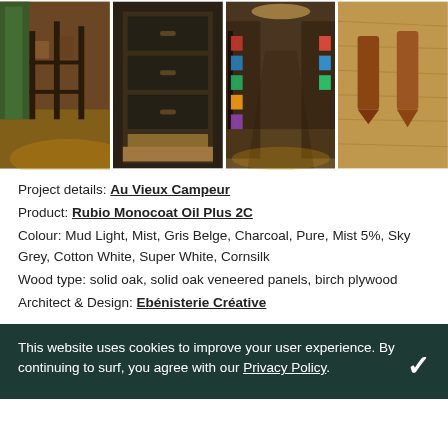[Figure (photo): Four photographs side by side showing a retail store interior with wooden shelving and clothing displays, close-up of dark cabinet drawers, store aisle with colorful garments, and wooden wall panel with leather-tab handles.]
Project details: Au Vieux Campeur
Product: Rubio Monocoat Oil Plus 2C
Colour: Mud Light, Mist, Gris Belge, Charcoal, Pure, Mist 5%, Sky Grey, Cotton White, Super White, Cornsilk
Wood type: solid oak, solid oak veneered panels, birch plywood
Architect & Design: Ebénisterie Créative
This website uses cookies to improve your user experience. By continuing to surf, you agree with our Privacy Policy.